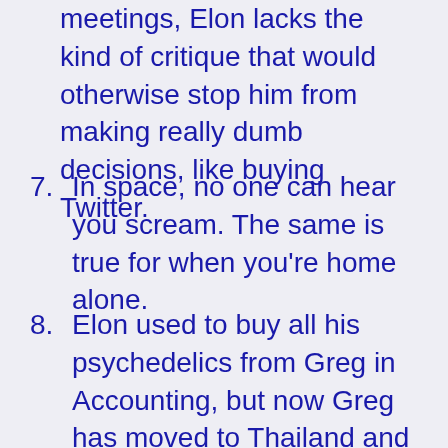meetings, Elon lacks the kind of critique that would otherwise stop him from making really dumb decisions, like buying Twitter.
7. In space, no one can hear you scream. The same is true for when you're home alone.
8. Elon used to buy all his psychedelics from Greg in Accounting, but now Greg has moved to Thailand and works remotely. This sucks.